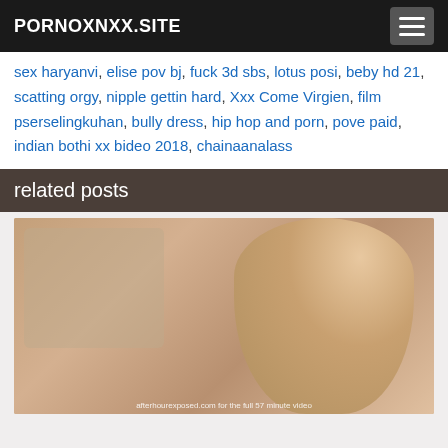PORNOXNXX.SITE
sex haryanvi, elise pov bj, fuck 3d sbs, lotus posi, beby hd 21, scatting orgy, nipple gettin hard, Xxx Come Virgien, film pserselingkuhan, bully dress, hip hop and porn, pove paid, indian bothi xx bideo 2018, chainaanalass
related posts
[Figure (photo): Thumbnail image of a blond woman in a room, with overlay text: afterhourexposed.com for the full 57 minute video]